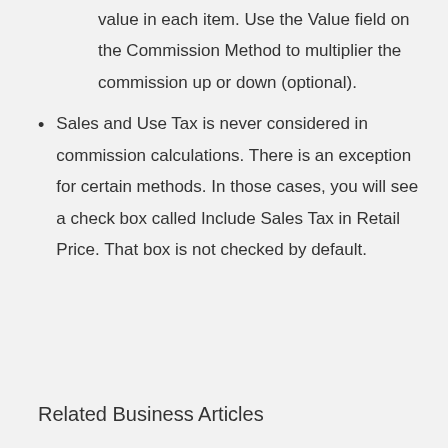value in each item. Use the Value field on the Commission Method to multiplier the commission up or down (optional).
Sales and Use Tax is never considered in commission calculations. There is an exception for certain methods. In those cases, you will see a check box called Include Sales Tax in Retail Price. That box is not checked by default.
Related Business Articles